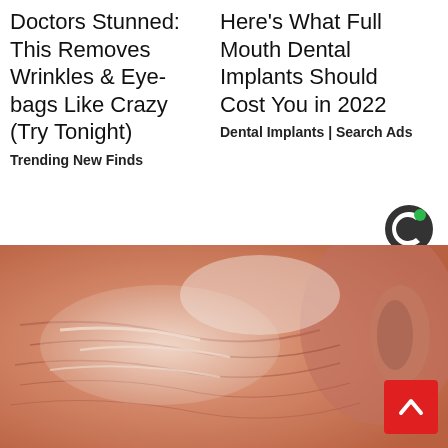Doctors Stunned: This Removes Wrinkles & Eye-bags Like Crazy (Try Tonight)
Trending New Finds
Here's What Full Mouth Dental Implants Should Cost You in 2022
Dental Implants | Search Ads
[Figure (logo): Taboola logo - circular C shape in dark grey with green accent]
[Figure (photo): Close-up photo of elderly person's face/neck showing wrinkled skin with white cream applied]
[Figure (other): Red scroll-to-top button with white upward arrow chevron]